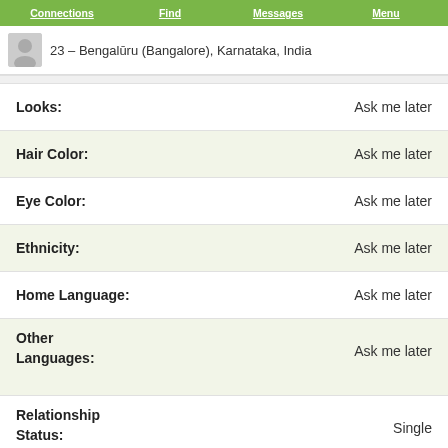Connections | Find | Messages | Menu
23 – Bengalūru (Bangalore), Karnataka, India
| Field | Value |
| --- | --- |
| Looks: | Ask me later |
| Hair Color: | Ask me later |
| Eye Color: | Ask me later |
| Ethnicity: | Ask me later |
| Home Language: | Ask me later |
| Other Languages: | Ask me later |
| Relationship Status: | Single |